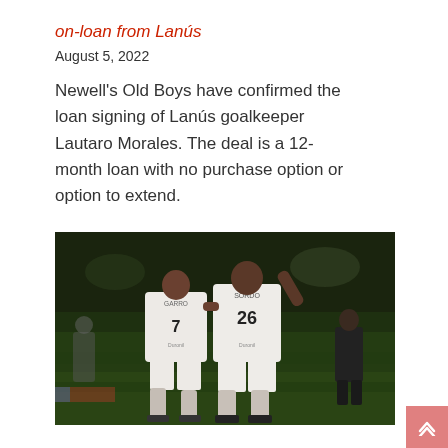on-loan from Lanús
August 5, 2022
Newell's Old Boys have confirmed the loan signing of Lanús goalkeeper Lautaro Morales. The deal is a 12-month loan with no purchase option or option to extend.
[Figure (photo): Two soccer players in white jerseys (numbers 7 GARRO and 26 SORDO) walking on a green pitch, viewed from behind, at a night match.]